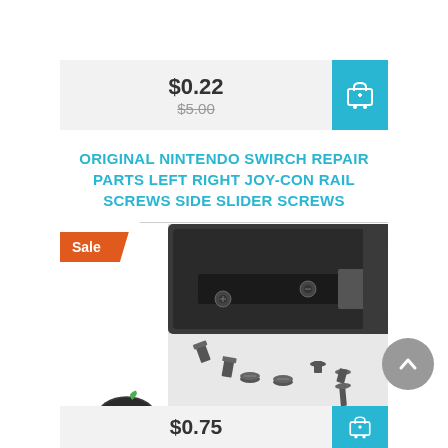$0.22
$5.00
ORIGINAL NINTENDO SWIRCH REPAIR PARTS LEFT RIGHT JOY-CON RAIL SCREWS SIDE SLIDER SCREWS
[Figure (photo): Photo of Nintendo Switch Joy-Con rail showing screws, with separate small screws displayed below the rail. A 'Sale' badge overlays the top-left corner. The KS egamephore logo appears at the bottom left.]
$0.75